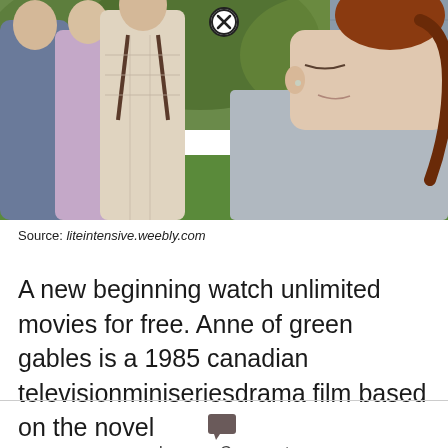[Figure (photo): A period drama scene showing several children/young people in historical clothing outdoors near greenery and a grey-sided house. On the right is a close-up of a red-haired girl looking down, wearing a grey floral dress.]
Source: liteintensive.weebly.com
A new beginning watch unlimited movies for free. Anne of green gables is a 1985 canadian televisionminiseriesdrama film based on the novel
Leave a Comment